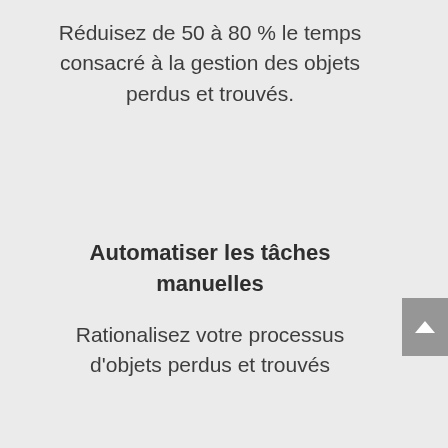Réduisez de 50 à 80 % le temps consacré à la gestion des objets perdus et trouvés.
Automatiser les tâches manuelles
Rationalisez votre processus d'objets perdus et trouvés